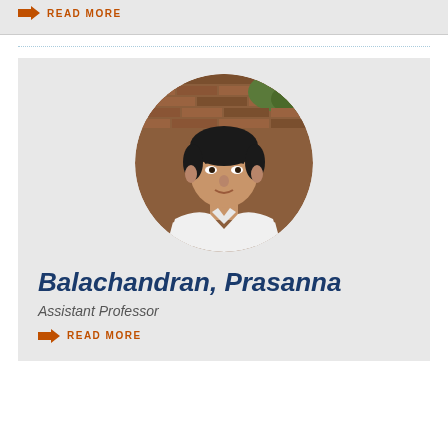READ MORE
[Figure (photo): Circular portrait photo of Prasanna Balachandran, a man in a white shirt against a brick wall background]
Balachandran, Prasanna
Assistant Professor
READ MORE